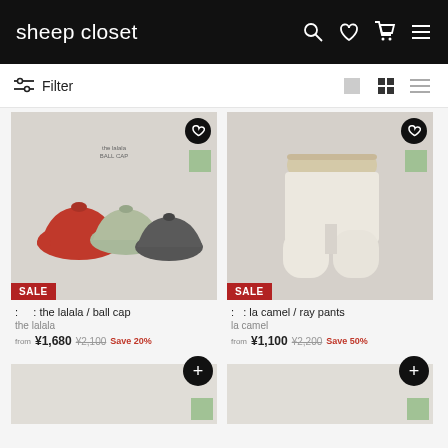sheep closet
Filter
[Figure (photo): Three ball caps (red, light khaki, dark grey) on a light grey surface with 'SALE' badge]
: : the lalala / ball cap
the lalala
from ¥1,680 ¥2,100 Save 20%
[Figure (photo): White/cream shorts (ray pants) on a light grey surface with 'SALE' badge]
: : la camel / ray pants
la camel
from ¥1,100 ¥2,200 Save 50%